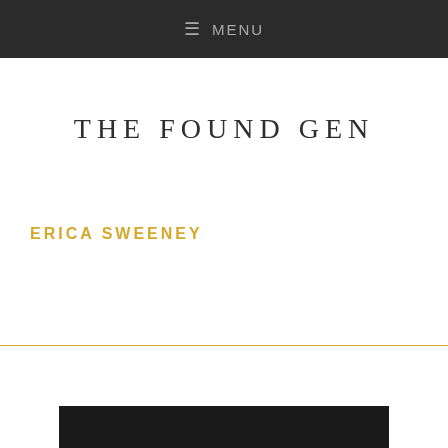≡ MENU
THE FOUND GEN
ERICA SWEENEY
[Figure (other): Black rectangular bar at the bottom of the page]